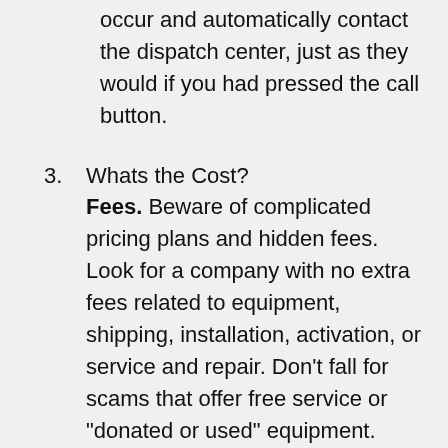occur and automatically contact the dispatch center, just as they would if you had pressed the call button.
3. Whats the Cost? Fees. Beware of complicated pricing plans and hidden fees. Look for a company with no extra fees related to equipment, shipping, installation, activation, or service and repair. Don’t fall for scams that offer free service or “donated or used” equipment. Contracts. You should not have to enter into a long-term contract. You should only have to pay ongoing monthly fees, which should range between $25 and $45 a month (about $1 a day). Be careful